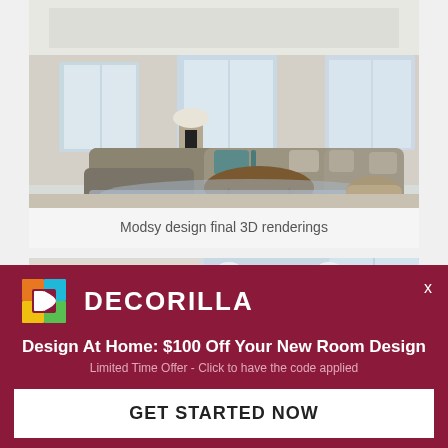[Figure (photo): 3D rendering of a modern living room with a large grey sectional sofa, round wooden coffee table, blue patterned rug, and lamps near bright windows]
Modsy design final 3D renderings
[Figure (photo): Partial view of a modern interior space showing a hallway or room with light-colored walls and glass door]
[Figure (infographic): Decorilla advertisement banner with logo, headline, subtext, and call-to-action button]
Design At Home: $100 Off Your New Room Design
Limited Time Offer - Click to have the code applied
GET STARTED NOW